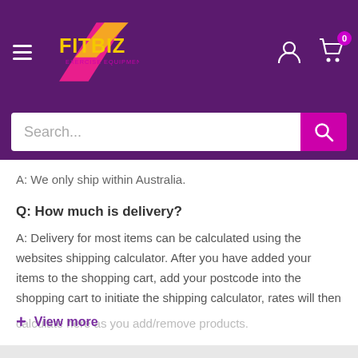[Figure (logo): FitBiz Exercise Equipment logo — yellow FITBIZ text with pink triangle/lightning bolt shape, on purple navigation bar]
A: We only ship within Australia.
Q: How much is delivery?
A: Delivery for most items can be calculated using the websites shipping calculator. After you have added your items to the shopping cart, add your postcode into the shopping cart to initiate the shipping calculator, rates will then calculate here as you add/remove products.
+ View more